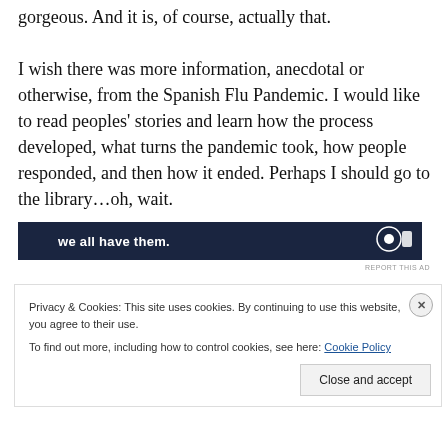gorgeous. And it is, of course, actually that.
I wish there was more information, anecdotal or otherwise, from the Spanish Flu Pandemic. I would like to read peoples' stories and learn how the process developed, what turns the pandemic took, how people responded, and then how it ended. Perhaps I should go to the library…oh, wait.
[Figure (screenshot): Dark navy advertisement banner with white bold text 'we all have them.' and a circular icon on the right]
REPORT THIS AD
Privacy & Cookies: This site uses cookies. By continuing to use this website, you agree to their use.
To find out more, including how to control cookies, see here: Cookie Policy
Close and accept